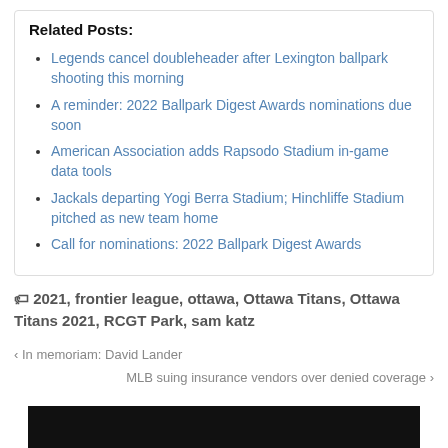Related Posts:
Legends cancel doubleheader after Lexington ballpark shooting this morning
A reminder: 2022 Ballpark Digest Awards nominations due soon
American Association adds Rapsodo Stadium in-game data tools
Jackals departing Yogi Berra Stadium; Hinchliffe Stadium pitched as new team home
Call for nominations: 2022 Ballpark Digest Awards
🏷 2021, frontier league, ottawa, Ottawa Titans, Ottawa Titans 2021, RCGT Park, sam katz
‹ In memoriam: David Lander
MLB suing insurance vendors over denied coverage ›
[Figure (photo): Black image/banner at bottom of page]